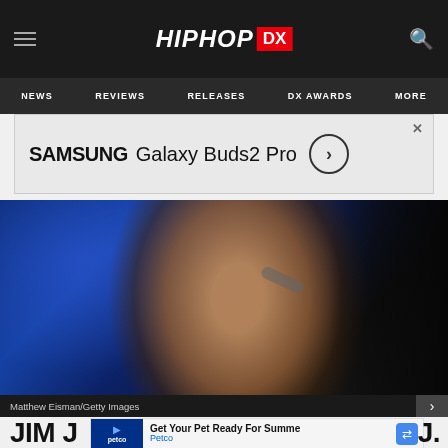HIPHOP DX
NEWS  REVIEWS  RELEASES  DX AWARDS  MORE
[Figure (screenshot): Samsung Galaxy Buds2 Pro advertisement banner]
[Figure (photo): Hip-hop performer on stage holding microphone, wearing white basketball jersey and backwards cap, with gold jewelry, against blue stage lighting. Credit: Matthew Eisman/Getty Images]
Matthew Eisman/Getty Images
[Figure (screenshot): Petco advertisement: Get Your Pet Ready For Summe - Petco]
JIM J...  J.